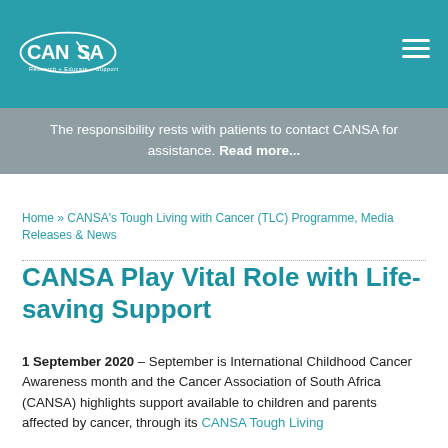CANSA – Research + Educate + Support
The responsibility rests with patients to contact CANSA for assistance. Read more...
Home » CANSA's Tough Living with Cancer (TLC) Programme, Media Releases & News
CANSA Play Vital Role with Life-saving Support
1 September 2020 – September is International Childhood Cancer Awareness month and the Cancer Association of South Africa (CANSA) highlights support available to children and parents affected by cancer, through its CANSA Tough Living